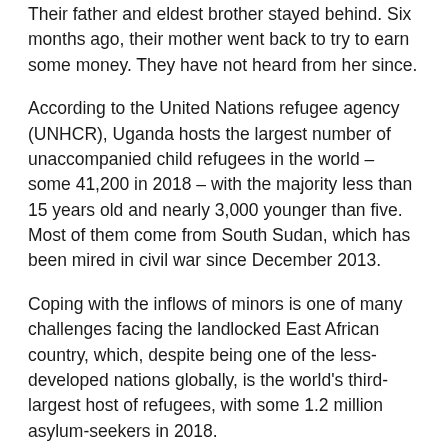Their father and eldest brother stayed behind. Six months ago, their mother went back to try to earn some money. They have not heard from her since.
According to the United Nations refugee agency (UNHCR), Uganda hosts the largest number of unaccompanied child refugees in the world – some 41,200 in 2018 – with the majority less than 15 years old and nearly 3,000 younger than five. Most of them come from South Sudan, which has been mired in civil war since December 2013.
Coping with the inflows of minors is one of many challenges facing the landlocked East African country, which, despite being one of the less-developed nations globally, is the world's third-largest host of refugees, with some 1.2 million asylum-seekers in 2018.
Many Ugandans were themselves displaced during Idi Amin's rule in the 1970s and later during an armed campaign by